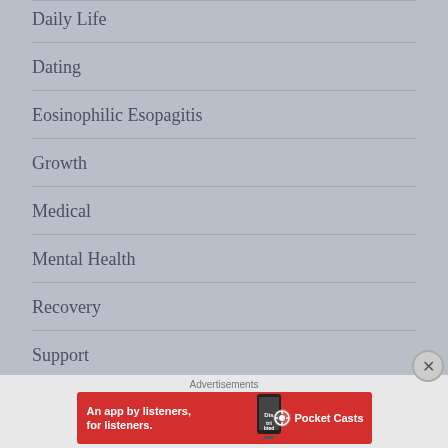Daily Life
Dating
Eosinophilic Esopagitis
Growth
Medical
Mental Health
Recovery
Support
Travel
Advertisements
[Figure (screenshot): Red advertisement banner for Pocket Casts app: 'An app by listeners, for listeners.' with Pocket Casts logo and phone image]